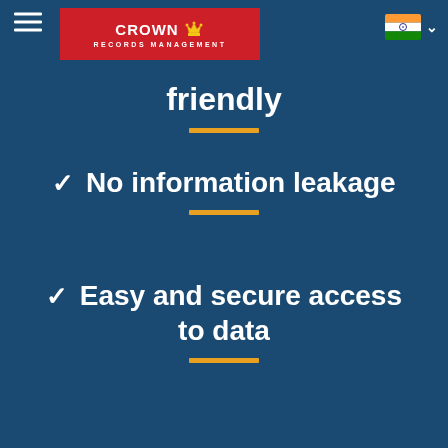[Figure (logo): Crown Records Management logo on red background with crown icon]
friendly
✓ No information leakage
✓ Easy and secure access to data
✓ Customisation